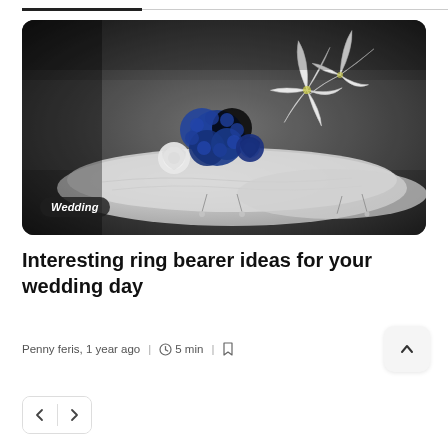[Figure (photo): A wedding ring bearer pillow (white satin) decorated with blue roses, blue hydrangeas, and white lilies, with small crystal/ring details hanging from it, photographed in black-and-white tones except the blue flowers which appear in color. A 'Wedding' badge overlay in the lower left.]
Interesting ring bearer ideas for your wedding day
Penny feris, 1 year ago  |  5 min  |
[Figure (other): Scroll-to-top chevron button (up arrow in a rounded square button)]
[Figure (other): Pagination left/right arrow buttons]